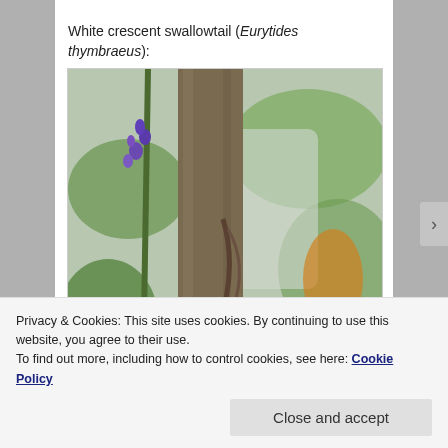White crescent swallowtail (Eurytides thymbraeus):
[Figure (photo): Photograph of a White crescent swallowtail butterfly (Eurytides thymbraeus) on a plant with purple flowers and green leaves, with a tree trunk and blurred garden background.]
Privacy & Cookies: This site uses cookies. By continuing to use this website, you agree to their use.
To find out more, including how to control cookies, see here: Cookie Policy